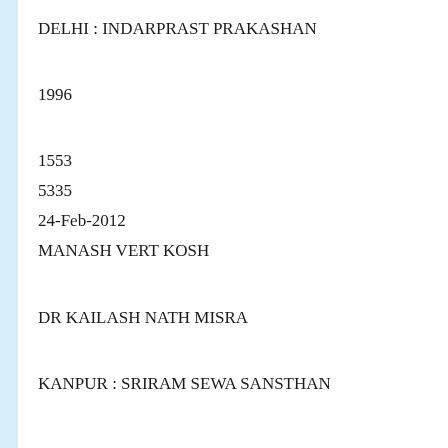DELHI : INDARPRAST PRAKASHAN
1996
1553
5335
24-Feb-2012
MANASH VERT KOSH
DR KAILASH NATH MISRA
KANPUR : SRIRAM SEWA SANSTHAN